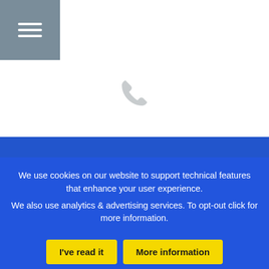[Figure (other): Hamburger menu icon — three white horizontal lines on grey square background]
[Figure (other): Light grey phone handset icon]
+44 1491 411 288
[Figure (other): Light grey phone/email icon at bottom, partially visible]
5th Floor Reading Bridge House
George Street, Reading (Berkshire)
RG1 8LS, United Kingdom
We use cookies on our website to support technical features that enhance your user experience.

We also use analytics & advertising services. To opt-out click for more information.
I've read it
More information